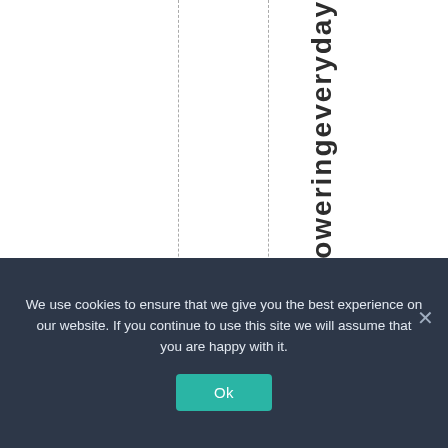[Figure (other): White background area with two vertical dashed lines dividing the space into columns, and large bold vertical text reading 'yempoweringeveryday' running top to bottom along the right column.]
We use cookies to ensure that we give you the best experience on our website. If you continue to use this site we will assume that you are happy with it.